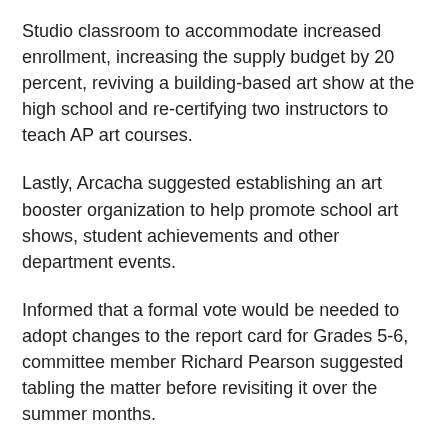Studio classroom to accommodate increased enrollment, increasing the supply budget by 20 percent, reviving a building-based art show at the high school and re-certifying two instructors to teach AP art courses.
Lastly, Arcacha suggested establishing an art booster organization to help promote school art shows, student achievements and other department events.
Informed that a formal vote would be needed to adopt changes to the report card for Grades 5-6, committee member Richard Pearson suggested tabling the matter before revisiting it over the summer months.
“I think it would be worth looking at in the whole scope of grading in fifth and sixth grade,” Pearson said. “I’m not sure why we need to speed through it tonight.”